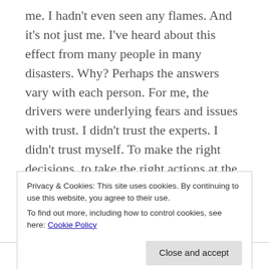me. I hadn't even seen any flames. And it's not just me. I've heard about this effect from many people in many disasters. Why? Perhaps the answers vary with each person. For me, the drivers were underlying fears and issues with trust. I didn't trust the experts. I didn't trust myself. To make the right decisions, to take the right actions at the right time.
I'm still not sure why I was so fixated on seeking fire info. Like everybody, I wanted the threat to be over,
Privacy & Cookies: This site uses cookies. By continuing to use this website, you agree to their use.
To find out more, including how to control cookies, see here: Cookie Policy
relief as well as dread when my home got put in an